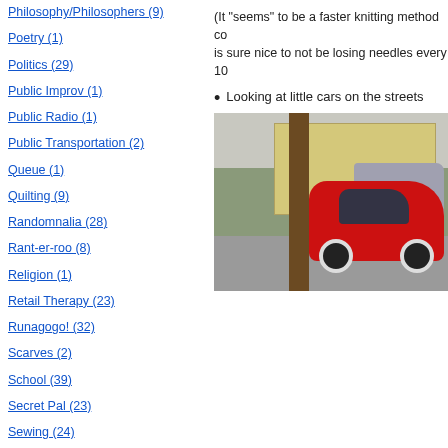Philosophy/Philosophers (9)
Poetry (1)
Politics (29)
Public Improv (1)
Public Radio (1)
Public Transportation (2)
Queue (1)
Quilting (9)
Randomnalia (28)
Rant-er-roo (8)
Religion (1)
Retail Therapy (23)
Runagogo! (32)
Scarves (2)
School (39)
Secret Pal (23)
Sewing (24)
Slrog (88)
So San Francisco (10)
(It "seems" to be a faster knitting method co... is sure nice to not be losing needles every 10...
Looking at little cars on the streets
[Figure (photo): A red vintage small car (Fiat 500 style) parked on a street next to a tree trunk, with a grey van and yellow building visible in background.]